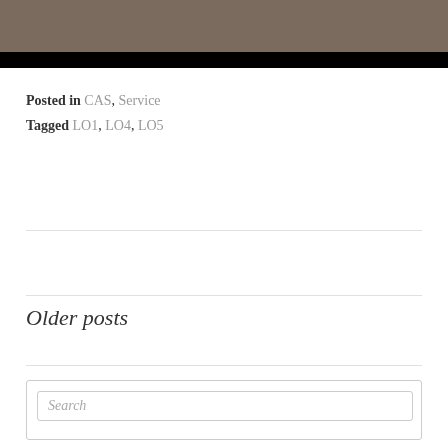[Figure (photo): Top portion of image — brown/taupe colored area with black bar at bottom]
Posted in CAS, Service
Tagged LO1, LO4, LO5
Older posts
Search